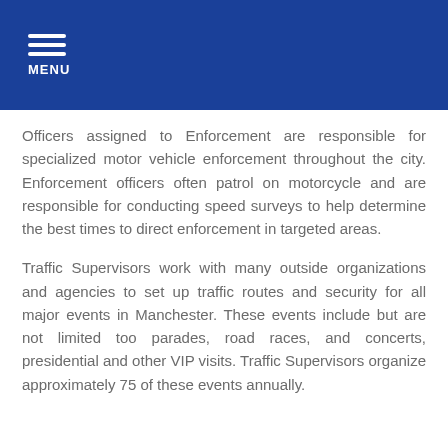MENU
Officers assigned to Enforcement are responsible for specialized motor vehicle enforcement throughout the city. Enforcement officers often patrol on motorcycle and are responsible for conducting speed surveys to help determine the best times to direct enforcement in targeted areas.
Traffic Supervisors work with many outside organizations and agencies to set up traffic routes and security for all major events in Manchester. These events include but are not limited too parades, road races, and concerts, presidential and other VIP visits. Traffic Supervisors organize approximately 75 of these events annually.